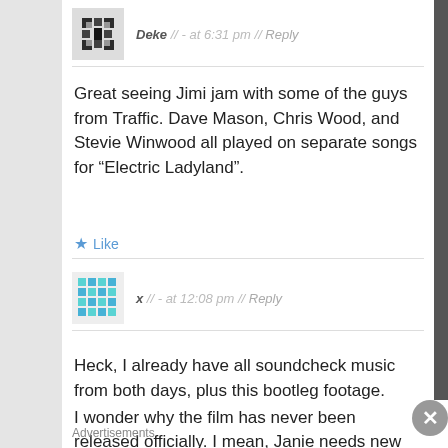Deke // - at 6:31 pm // Reply
Great seeing Jimi jam with some of the guys from Traffic. Dave Mason, Chris Wood, and Stevie Winwood all played on separate songs for "Electric Ladyland".
Like
x // - at 12:08 pm // Reply
Heck, I already have all soundcheck music from both days, plus this bootleg footage.
I wonder why the film has never been released officially. I mean, Janie needs new shoes... she will sue
Advertisements